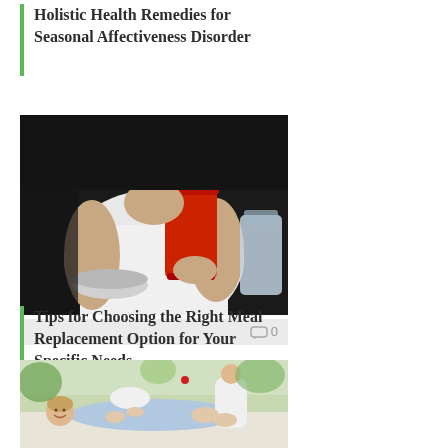Holistic Health Remedies for Seasonal Affectiveness Disorder
[Figure (photo): Person in white shirt holding a red container and a blender lid, apparently making a meal replacement shake]
0
Tips for Choosing the Right Meal Replacement Option for Your Specific Needs
[Figure (photo): Child lying on a table receiving a massage or physical therapy treatment from a person in white uniform, outdoors]